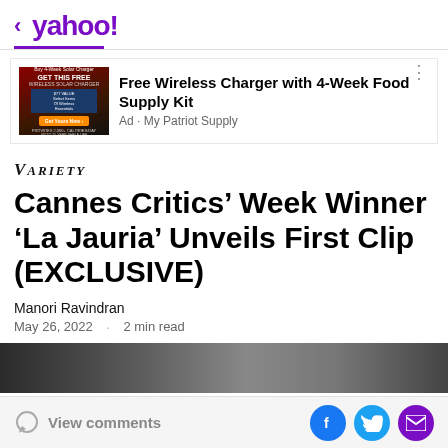< yahoo!
[Figure (screenshot): Yahoo News ad banner: Free Wireless Charger with 4-Week Food Supply Kit, Ad · My Patriot Supply]
Cannes Critics' Week Winner 'La Jauria' Unveils First Clip (EXCLUSIVE)
Manori Ravindran
May 26, 2022 · 2 min read
[Figure (photo): Dark photo strip, partial image of a person outdoors]
View comments